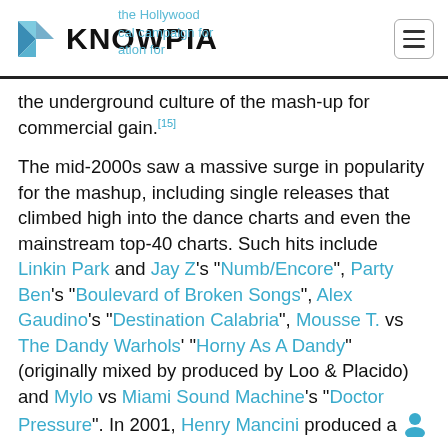KNOWPIA
the underground culture of the mash-up for commercial gain.[15]
The mid-2000s saw a massive surge in popularity for the mashup, including single releases that climbed high into the dance charts and even the mainstream top-40 charts. Such hits include Linkin Park and Jay Z's "Numb/Encore", Party Ben's "Boulevard of Broken Songs", Alex Gaudino's "Destination Calabria", Mousse T. vs The Dandy Warhols' "Horny As A Dandy" (originally mixed by produced by Loo & Placido) and Mylo vs Miami Sound Machine's "Doctor Pressure". In 2001, Henry Mancini produced a mashup version of Every Breath You Take by The Police for the 27th Episode of The Sopranos 'Mr.